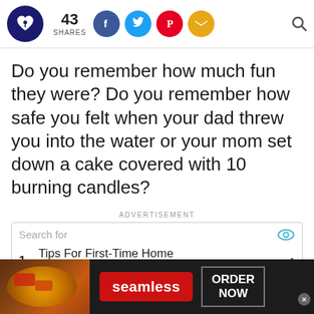43 SHARES — social share bar with Facebook, Twitter, Pinterest, Email buttons
Do you remember how much fun they were? Do you remember how safe you felt when your dad threw you into the water or your mom set down a cake covered with 10 burning candles?
ADVERTISEMENT
[Figure (screenshot): Advertisement search widget showing 'Search for' field with eye icon and item: 1. Tips For First-Time Home Buyers with arrow]
[Figure (infographic): Seamless food delivery banner ad with pizza image, red Seamless button, and ORDER NOW button]